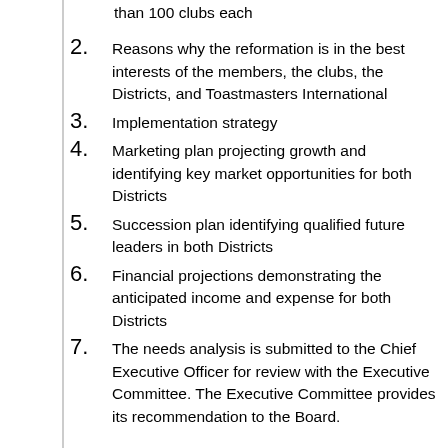than 100 clubs each
2. Reasons why the reformation is in the best interests of the members, the clubs, the Districts, and Toastmasters International
3. Implementation strategy
4. Marketing plan projecting growth and identifying key market opportunities for both Districts
5. Succession plan identifying qualified future leaders in both Districts
6. Financial projections demonstrating the anticipated income and expense for both Districts
7. The needs analysis is submitted to the Chief Executive Officer for review with the Executive Committee. The Executive Committee provides its recommendation to the Board.